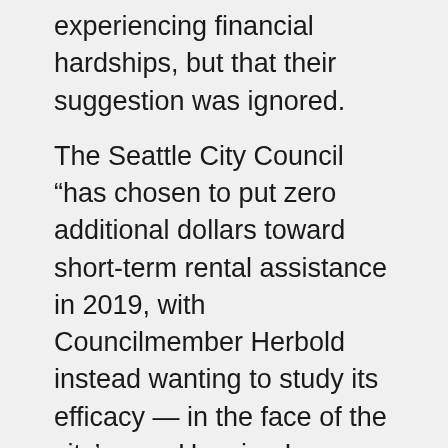experiencing financial hardships, but that their suggestion was ignored.
The Seattle City Council “has chosen to put zero additional dollars toward short-term rental assistance in 2019, with Councilmember Herbold instead wanting to study its efficacy — in the face of the city’s own Housing Levy Report demonstrating that short-term assistance works and preempts the eviction process all together,” Rental Housing Association of Washington Deputy Director of Government Affairs Heather Pierce wrote in an email to Seattle Weekly. “Landlords are not the cause of eviction. Income inequality and systemic